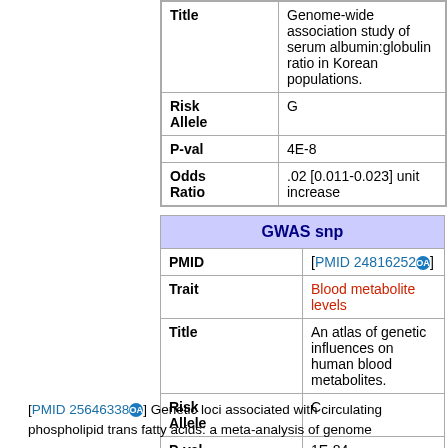|  |  |
| --- | --- |
| Title | Genome-wide association study of serum albumin:globulin ratio in Korean populations. |
| Risk Allele | G |
| P-val | 4E-8 |
| Odds Ratio | .02 [0.011-0.023] unit increase |
| GWAS snp |  |
| --- | --- |
| PMID | [PMID 24816252] (OA) |
| Trait | Blood metabolite levels |
| Title | An atlas of genetic influences on human blood metabolites. |
| Risk Allele | C |
| P-val | 1E-84 |
| Odds Ratio | .05 [0.043-0.055] unit increase |
[PMID 25646338 (OA)] Genetic loci associated with circulating phospholipid trans fatty acids: a meta-analysis of genome…